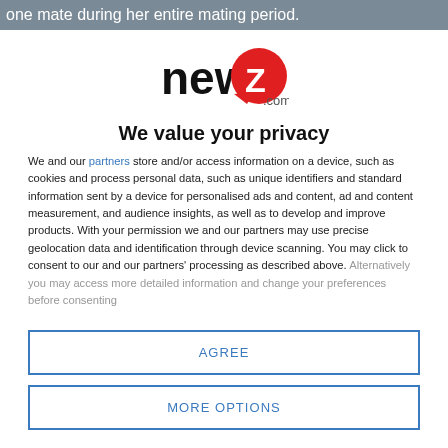one mate during her entire mating period.
[Figure (logo): newZ.com logo — bold black 'new' text with a red speech-bubble containing a white Z, and '.com' in grey]
We value your privacy
We and our partners store and/or access information on a device, such as cookies and process personal data, such as unique identifiers and standard information sent by a device for personalised ads and content, ad and content measurement, and audience insights, as well as to develop and improve products. With your permission we and our partners may use precise geolocation data and identification through device scanning. You may click to consent to our and our partners' processing as described above. Alternatively you may access more detailed information and change your preferences before consenting
AGREE
MORE OPTIONS